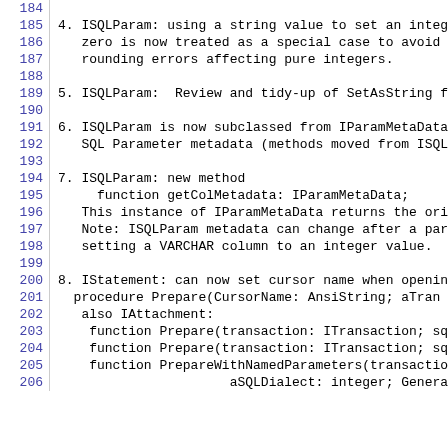184 (empty)
185 4. ISQLParam: using a string value to set an intege
186    zero is now treated as a special case to avoid t
187    rounding errors affecting pure integers.
188 (empty)
189 5. ISQLParam:  Review and tidy-up of SetAsString fo
190 (empty)
191 6. ISQLParam is now subclassed from IParamMetaData,
192    SQL Parameter metadata (methods moved from ISQLP
193 (empty)
194 7. ISQLParam: new method
195     function getColMetadata: IParamMetaData;
196    This instance of IParamMetaData returns the orig
197    Note: ISQLParam metadata can change after a para
198    setting a VARCHAR column to an integer value.
199 (empty)
200 8. IStatement: can now set cursor name when opening
201  procedure Prepare(CursorName: AnsiString; aTran
202    also IAttachment:
203     function Prepare(transaction: ITransaction; sql
204     function Prepare(transaction: ITransaction; sql
205     function PrepareWithNamedParameters(transaction
206                      aSQLDialect: integer; Genera